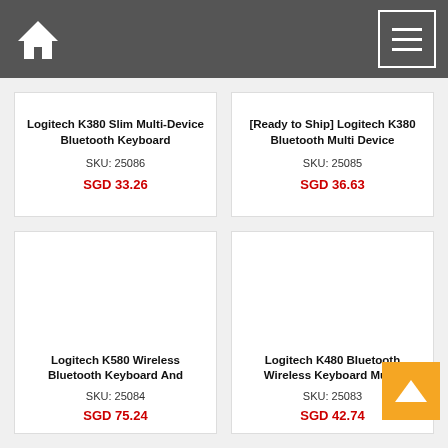[Figure (screenshot): Navigation bar with home icon and menu icon on dark grey background]
Logitech K380 Slim Multi-Device Bluetooth Keyboard
SKU: 25086
SGD 33.26
[Ready to Ship] Logitech K380 Bluetooth Multi Device
SKU: 25085
SGD 36.63
Logitech K580 Wireless Bluetooth Keyboard And
SKU: 25084
SGD 75.24
Logitech K480 Bluetooth Wireless Keyboard Multi-
SKU: 25083
SGD 42.74